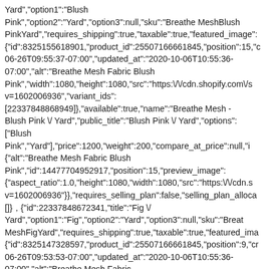Yard","option1":"Blush Pink","option2":"Yard","option3":null,"sku":"Breathe MeshBlush PinkYard","requires_shipping":true,"taxable":true,"featured_image": {"id":8325155618901,"product_id":25507166661845,"position":15,"c 06-26T09:55:37-07:00","updated_at":"2020-10-06T10:55:36-07:00","alt":"Breathe Mesh Fabric Blush Pink","width":1080,"height":1080,"src":"https:\/\/cdn.shopify.com\/s v=1602006936","variant_ids": [22337848868949]},"available":true,"name":"Breathe Mesh - Blush Pink \/ Yard","public_title":"Blush Pink \/ Yard","options": ["Blush Pink","Yard"],"price":1200,"weight":200,"compare_at_price":null,"i {"alt":"Breathe Mesh Fabric Blush Pink","id":14477704952917,"position":15,"preview_image": {"aspect_ratio":1.0,"height":1080,"width":1080,"src":"https:\/\/cdn.s v=1602006936"}},"requires_selling_plan":false,"selling_plan_alloca []},{"id":22337848672341,"title":"Fig \/ Yard","option1":"Fig","option2":"Yard","option3":null,"sku":"Breathe MeshFigYard","requires_shipping":true,"taxable":true,"featured_ima {"id":8325147328597,"product_id":25507166661845,"position":9,"cr 06-26T09:53:53-07:00","updated_at":"2020-10-06T10:55:36-07:00","alt":"Breathe Mesh Fabric Fig","width":1080,"height":1080,"src":"https:\/\/cdn.shopify.com\/s\/ v=1602006936","variant_ids": [22337848672341]},"available":true,"name":"Breathe Mesh - Fig